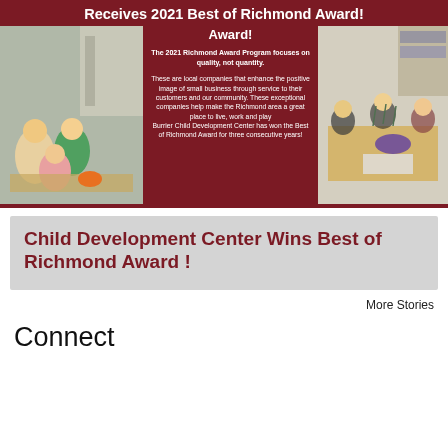[Figure (photo): Dark red banner with two classroom photos on left and right, center text about 2021 Best of Richmond Award, showing children doing activities at a daycare/child development center]
Child Development Center Wins Best of Richmond Award !
More Stories
Connect